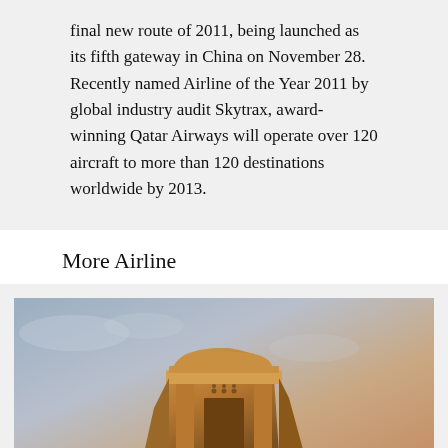final new route of 2011, being launched as its fifth gateway in China on November 28. Recently named Airline of the Year 2011 by global industry audit Skytrax, award-winning Qatar Airways will operate over 120 aircraft to more than 120 destinations worldwide by 2013.
More Airline
[Figure (photo): Photo of a large sandstone rock formation resembling an ancient tomb or monument against a sunset sky, taken at a desert archaeological site likely in Saudi Arabia (Hegra/Mada'in Saleh).]
Big jump in international passengers for Saudi